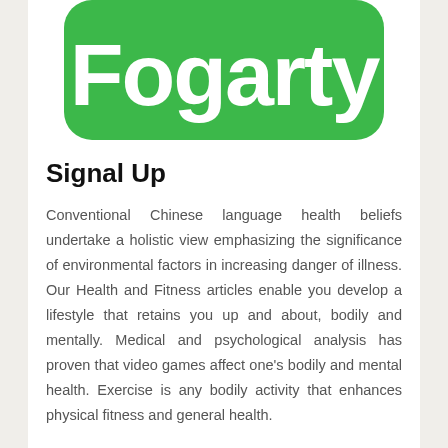[Figure (logo): Green rounded rectangle logo with white text 'Fogarty']
Signal Up
Conventional Chinese language health beliefs undertake a holistic view emphasizing the significance of environmental factors in increasing danger of illness. Our Health and Fitness articles enable you develop a lifestyle that retains you up and about, bodily and mentally. Medical and psychological analysis has proven that video games affect one's bodily and mental health. Exercise is any bodily activity that enhances physical fitness and general health.
Health insurances cowl partial or complete bills shelled out for medical remedy. Under is an alphabetical checklist of ailments with information on all kinds of frequent medical situations, ailments, disorders,